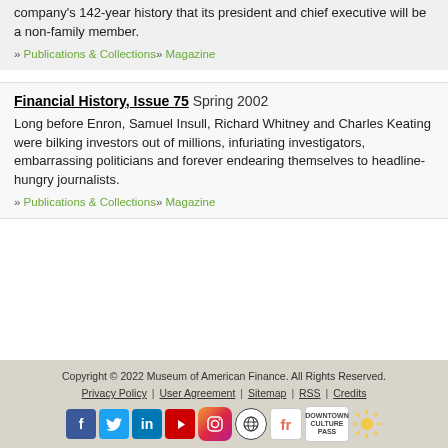company's 142-year history that its president and chief executive will be a non-family member.
» Publications & Collections» Magazine
Financial History, Issue 75 Spring 2002
Long before Enron, Samuel Insull, Richard Whitney and Charles Keating were bilking investors out of millions, infuriating investigators, embarrassing politicians and forever endearing themselves to headline-hungry journalists.
» Publications & Collections» Magazine
Copyright © 2022 Museum of American Finance. All Rights Reserved. | Privacy Policy | User Agreement | Sitemap | RSS | Credits